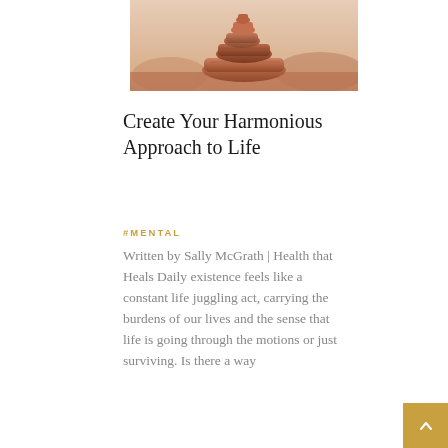[Figure (photo): Photo of stacked balanced rocks (cairn) on a rocky surface with a blurred warm-toned background]
Create Your Harmonious Approach to Life
#MENTAL
Written by Sally McGrath | Health that Heals Daily existence feels like a constant life juggling act, carrying the burdens of our lives and the sense that life is going through the motions or just surviving. Is there a way